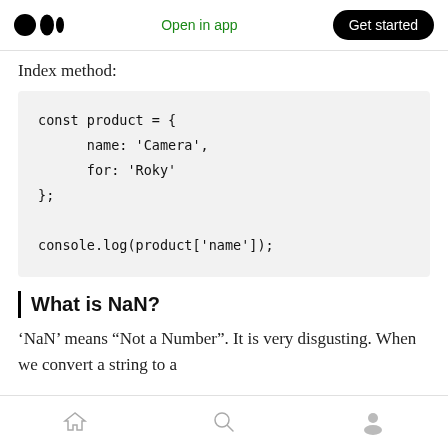Medium logo | Open in app | Get started
Index method:
const product = {
      name: 'Camera',
      for: 'Roky'
};

console.log(product['name']);
What is NaN?
‘NaN’ means “Not a Number”. It is very disgusting. When we convert a string to a